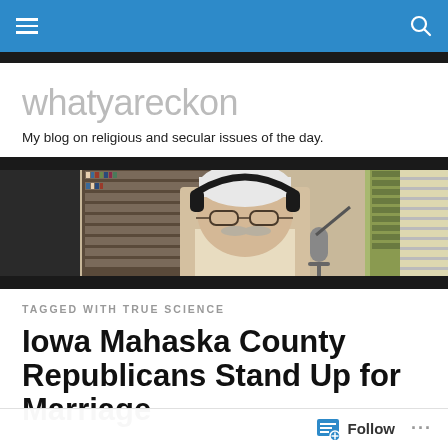whatyareckon — navigation bar
whatyareckon
My blog on religious and secular issues of the day.
[Figure (photo): An older man with white hair and mustache wearing headphones and glasses, sitting at a microphone in a recording studio with shelves of CDs/records in the background.]
TAGGED WITH TRUE SCIENCE
Iowa Mahaska County Republicans Stand Up for Marriage
Follow